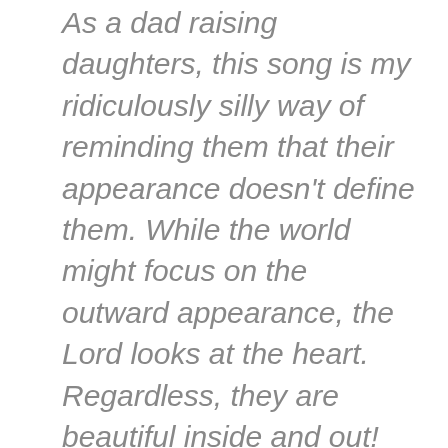As a dad raising daughters, this song is my ridiculously silly way of reminding them that their appearance doesn't define them. While the world might focus on the outward appearance, the Lord looks at the heart. Regardless, they are beautiful inside and out!